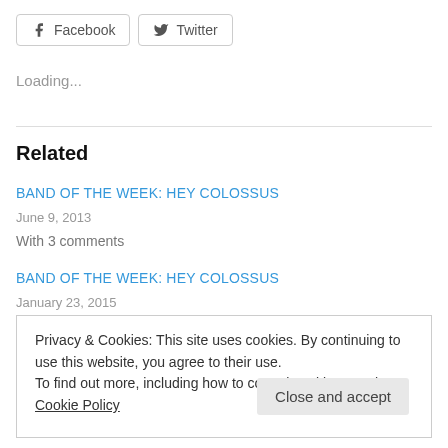[Figure (other): Facebook and Twitter share buttons]
Loading...
Related
BAND OF THE WEEK: HEY COLOSSUS
June 9, 2013
With 3 comments
BAND OF THE WEEK: HEY COLOSSUS
January 23, 2015
Privacy & Cookies: This site uses cookies. By continuing to use this website, you agree to their use. To find out more, including how to control cookies, see here: Cookie Policy
Close and accept